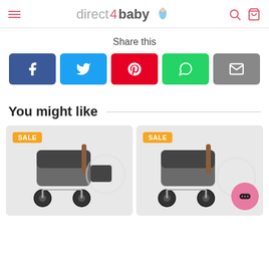direct4baby
Share this
[Figure (screenshot): Social share buttons: Facebook, Twitter, Pinterest, WhatsApp, Email]
You might like
[Figure (photo): Two baby stroller product cards with SALE badges]
[Figure (photo): Chat button overlay (pink circle with chat icon)]